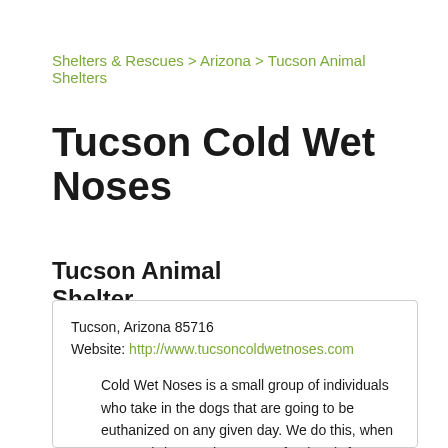Shelters & Rescues > Arizona > Tucson Animal Shelters
Tucson Cold Wet Noses
Tucson Animal Shelter
Tucson, Arizona 85716
Website: http://www.tucsoncoldwetnoses.com
Cold Wet Noses is a small group of individuals who take in the dogs that are going to be euthanized on any given day. We do this, when we can (when we have room for them), from Pima Animal Care Center (PACC) (a county-run...